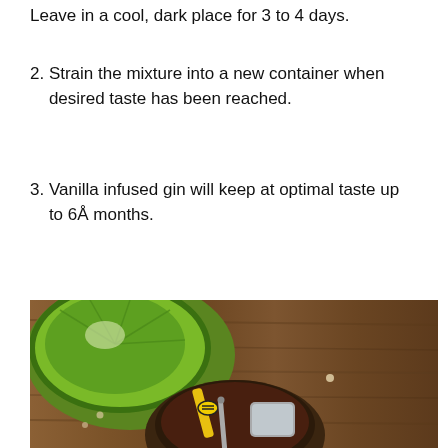Leave in a cool, dark place for 3 to 4 days.
2. Strain the mixture into a new container when desired taste has been reached.
3. Vanilla infused gin will keep at optimal taste up to 6Å months.
[Figure (photo): Overhead photo of a cocktail glass with dark liquid and ice cube, garnished with a yellow bumblebee straw decoration, next to lime wedges, all on a dark wooden surface.]